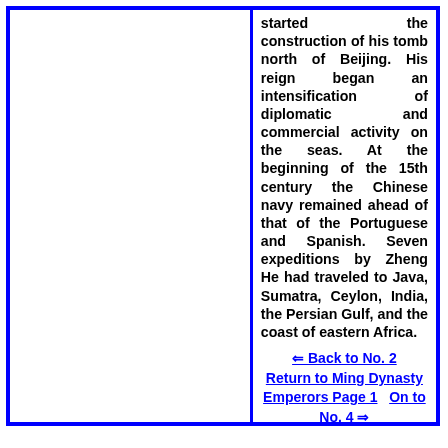started the construction of his tomb north of Beijing. His reign began an intensification of diplomatic and commercial activity on the seas. At the beginning of the 15th century the Chinese navy remained ahead of that of the Portuguese and Spanish. Seven expeditions by Zheng He had traveled to Java, Sumatra, Ceylon, India, the Persian Gulf, and the coast of eastern Africa.
⇐ Back to No. 2  Return to Ming Dynasty Emperors Page 1   On to No. 4 ⇒